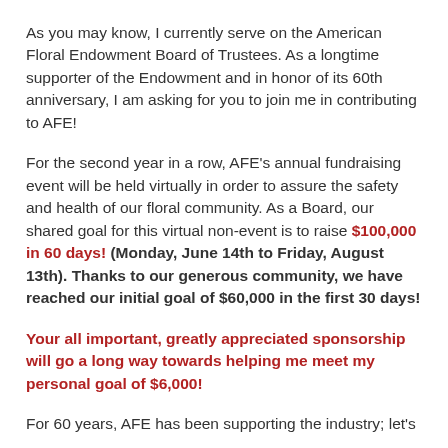As you may know, I currently serve on the American Floral Endowment Board of Trustees. As a longtime supporter of the Endowment and in honor of its 60th anniversary, I am asking for you to join me in contributing to AFE!
For the second year in a row, AFE’s annual fundraising event will be held virtually in order to assure the safety and health of our floral community. As a Board, our shared goal for this virtual non-event is to raise $100,000 in 60 days! (Monday, June 14th to Friday, August 13th). Thanks to our generous community, we have reached our initial goal of $60,000 in the first 30 days!
Your all important, greatly appreciated sponsorship will go a long way towards helping me meet my personal goal of $6,000!
For 60 years, AFE has been supporting the industry; let’s